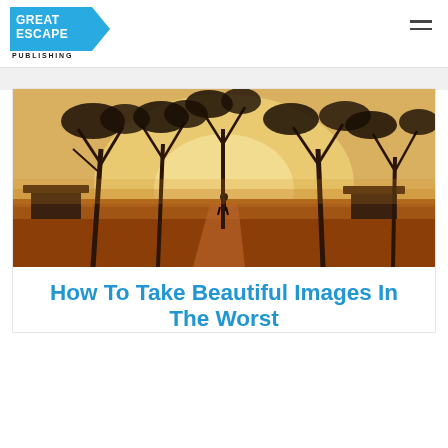GREAT ESCAPE PUBLISHING
[Figure (photo): Warm golden-hour landscape photo of an African savanna village: red dirt path leading to a silhouetted figure walking between sparse acacia trees, huts visible on the sides, hazy dusty atmosphere with a glowing orange-yellow sky]
How To Take Beautiful Images In The Worst